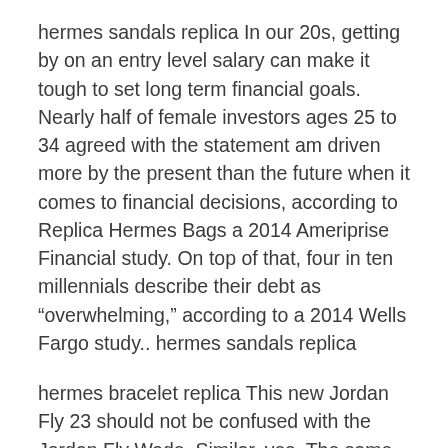hermes sandals replica In our 20s, getting by on an entry level salary can make it tough to set long term financial goals. Nearly half of female investors ages 25 to 34 agreed with the statement am driven more by the present than the future when it comes to financial decisions, according to Replica Hermes Bags a 2014 Ameriprise Financial study. On top of that, four in ten millennials describe their debt as “overwhelming,” according to a 2014 Wells Fargo study.. hermes sandals replica
hermes bracelet replica This new Jordan Fly 23 should not be confused with the Jordan Fly Wade. Similar, yes. The same, no. “My inspiration mainly came from my own life. Growing up I was that overprotected little dumpling for my Chinese mom,” she told My Statesman. “I was an